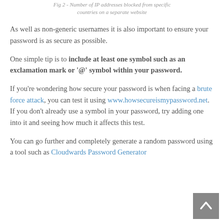Fig 2 - Number of IP addresses blocked from specific countries on a separate website
As well as non-generic usernames it is also important to ensure your password is as secure as possible.
One simple tip is to include at least one symbol such as an exclamation mark or '@' symbol within your password.
If you're wondering how secure your password is when facing a brute force attack, you can test it using www.howsecureismypassword.net. If you don't already use a symbol in your password, try adding one into it and seeing how much it affects this test.
You can go further and completely generate a random password using a tool such as Cloudwards Password Generator